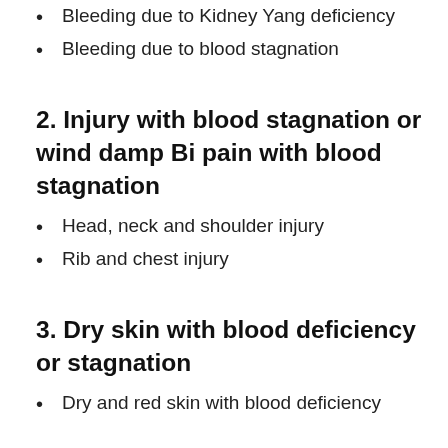Bleeding due to Kidney Yang deficiency
Bleeding due to blood stagnation
2. Injury with blood stagnation or wind damp Bi pain with blood stagnation
Head, neck and shoulder injury
Rib and chest injury
3. Dry skin with blood deficiency or stagnation
Dry and red skin with blood deficiency